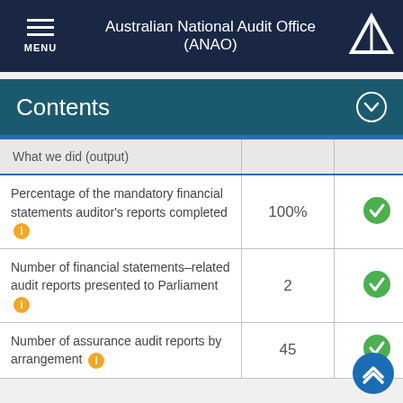Australian National Audit Office (ANAO)
Contents
| What we did (output) |  |  |  |
| --- | --- | --- | --- |
| Percentage of the mandatory financial statements auditor's reports completed [i] | 100% | ✓ | ✓ |
| Number of financial statements–related audit reports presented to Parliament [i] | 2 | ✓ | ✓ |
| Number of assurance audit reports by arrangement [i] | 45 | ✓ |  |